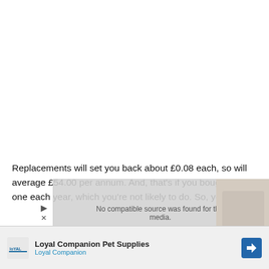Replacements will set you back about £0.08 each, so will average £54.00 per annum. And, that's if you bought a new one each year, which you're not likely to do. So, your cost
[Figure (other): Video overlay popup showing 'No compatible source was found for this media' message with a close button and an X dismiss icon]
[Figure (other): Advertisement banner for Loyal Companion Pet Supplies with logo and navigation arrow icon]